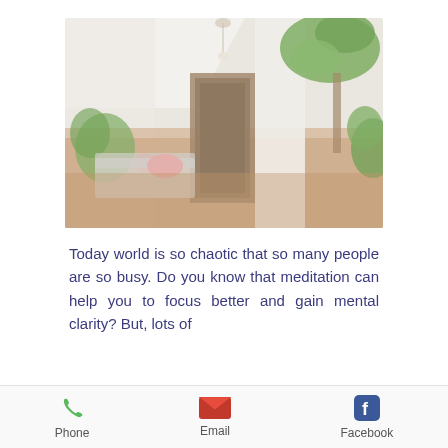[Figure (photo): Bright, blurred indoor room with white walls, wooden floor, green plants, and hallway entrance]
Today world is so chaotic that so many people are so busy. Do you know that meditation can help you to focus better and gain mental clarity? But, lots of
Phone  Email  Facebook